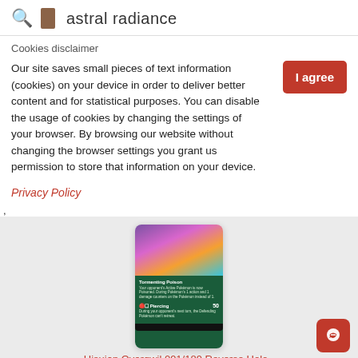astral radiance
Cookies disclaimer
Our site saves small pieces of text information (cookies) on your device in order to deliver better content and for statistical purposes. You can disable the usage of cookies by changing the settings of your browser. By browsing our website without changing the browser settings you grant us permission to store that information on your device.
I agree
Privacy Policy
,
[Figure (photo): Pokemon trading card - Hisuian Overqwil 091/189 Reverse Holo, showing a purple/pink Pokemon on top with a dark green card background showing move descriptions including Tormenting Poison and Piercing (50 damage)]
Hisuian Overqwil 091/189 Reverse Holo -